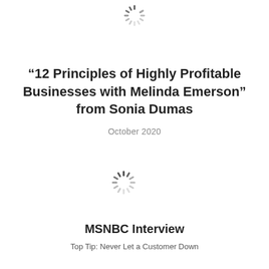[Figure (other): Loading spinner icon (circular dashed spinner) at top center of page]
“12 Principles of Highly Profitable Businesses with Melinda Emerson” from Sonia Dumas
October 2020
[Figure (other): Loading spinner icon (circular dashed spinner) at center-left of page]
MSNBC Interview
Top Tip: Never Let a Customer Down